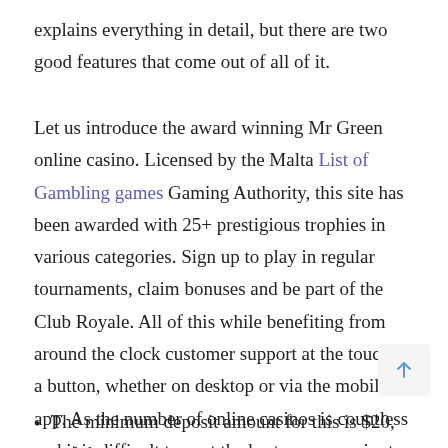explains everything in detail, but there are two good features that come out of all of it.
Let us introduce the award winning Mr Green online casino. Licensed by the Malta List of Gambling games Gaming Authority, this site has been awarded with 25+ prestigious trophies in various categories. Sign up to play in regular tournaments, claim bonuses and be part of the Club Royale. All of this while benefiting from around the clock customer support at the touch of a button, whether on desktop or via the mobile app. As the number of online casinos is countless and it is difficult to spot the best ones, we aim to guide you through the world of online gambling.
The minimum deposit amount for this is $20, and the